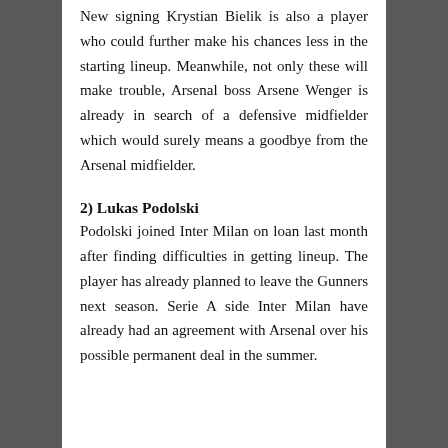New signing Krystian Bielik is also a player who could further make his chances less in the starting lineup. Meanwhile, not only these will make trouble, Arsenal boss Arsene Wenger is already in search of a defensive midfielder which would surely means a goodbye from the Arsenal midfielder.
2) Lukas Podolski
Podolski joined Inter Milan on loan last month after finding difficulties in getting lineup. The player has already planned to leave the Gunners next season. Serie A side Inter Milan have already had an agreement with Arsenal over his possible permanent deal in the summer.